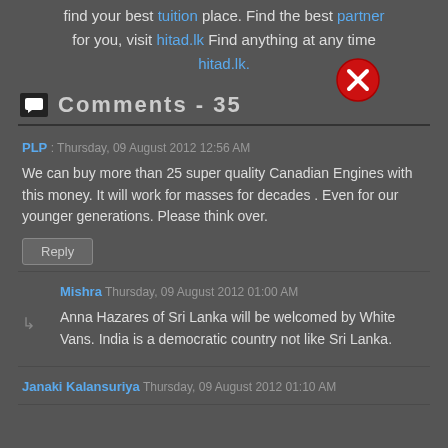find your best tuition place. Find the best partner for you, visit hitad.lk Find anything at any time hitad.lk.
[Figure (other): Red circular close button with white X icon, overlaid on ad banner]
Comments - 35
PLP: Thursday, 09 August 2012 12:56 AM

We can buy more than 25 super quality Canadian Engines with this money. It will work for masses for decades . Even for our younger generations. Please think over.

[Reply]
Mishra Thursday, 09 August 2012 01:00 AM

Anna Hazares of Sri Lanka will be welcomed by White Vans. India is a democratic country not like Sri Lanka.
Janaki Kalansuriya Thursday, 09 August 2012 01:10 AM